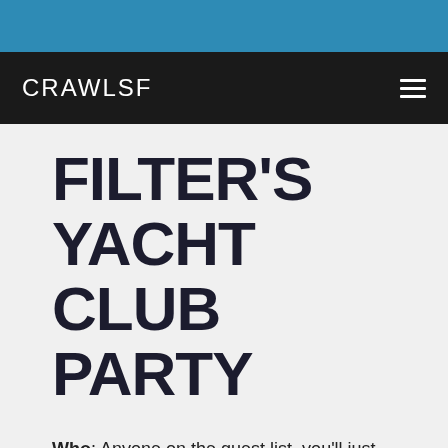CRAWLSF
FILTER'S YACHT CLUB PARTY
Who: Anyone on the guest list, you'll just need to RSVP.
What: Full bar, product giveaways, food and performances from Penguin Prison, St. Lucia and